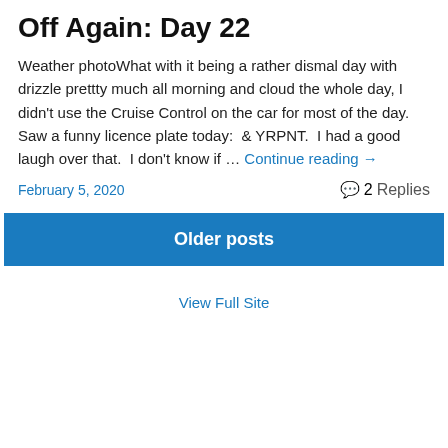Off Again: Day 22
Weather photoWhat with it being a rather dismal day with drizzle prettty much all morning and cloud the whole day, I didn't use the Cruise Control on the car for most of the day.  Saw a funny licence plate today:  & YRPNT.  I had a good laugh over that.  I don't know if … Continue reading →
February 5, 2020
2 Replies
Older posts
View Full Site